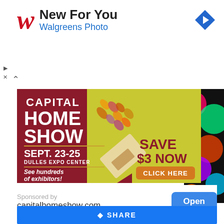New For You
Walgreens Photo
[Figure (infographic): Capital Home Show advertisement banner. Dark red/crimson left half with white text: CAPITAL HOME SHOW, SEPT. 23-25, DULLES EXPO CENTER, See hundreds of exhibitors!. Yellow-green right half with a paint brush diagonal, dark red text: SAVE $3 NOW, orange button: CLICK HERE.]
Sponsored by
capitalhomeshow.com
[Figure (other): Facebook share bar at the bottom with blue background and SHARE text]